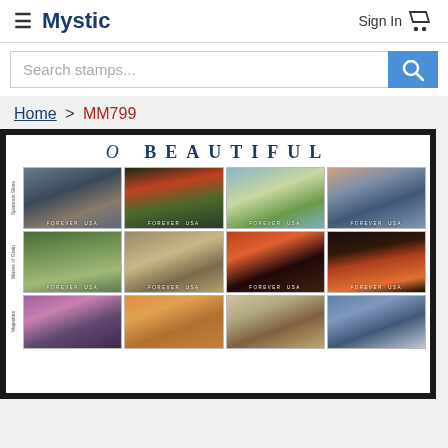Mystic  Sign In
Search stamps...
Home > MM799
[Figure (photo): O BEAUTIFUL stamp sheet showing 12 Forever USA stamps arranged in 3 rows of 4. Rows labeled 'Spacious Skies', 'Waves of Grain', and 'Majesties'. Stamps show landscape photographs of skies, fields, sunsets, and mountains.]